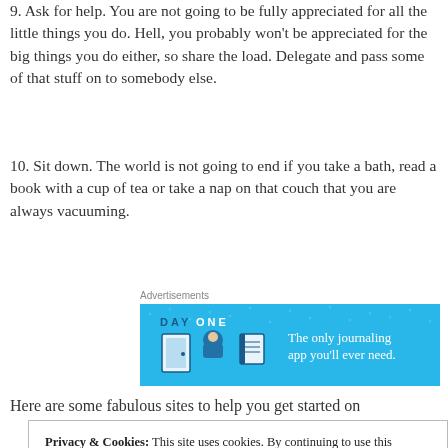9. Ask for help. You are not going to be fully appreciated for all the little things you do. Hell, you probably won't be appreciated for the big things you do either, so share the load. Delegate and pass some of that stuff on to somebody else.
10. Sit down. The world is not going to end if you take a bath, read a book with a cup of tea or take a nap on that couch that you are always vacuuming.
Advertisements
[Figure (illustration): DAY ONE app advertisement banner — blue background with icons of a door, person, and notebook, text reads 'The only journaling app you'll ever need.']
Here are some fabulous sites to help you get started on
Privacy & Cookies: This site uses cookies. By continuing to use this website, you agree to their use.
To find out more, including how to control cookies, see here:
Cookie Policy
Close and accept
Advertisements